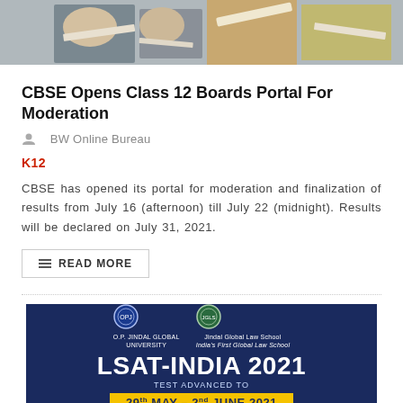[Figure (photo): Top photo showing students writing/reading, cropped at the bottom portion showing hands and books]
CBSE Opens Class 12 Boards Portal For Moderation
BW Online Bureau
K12
CBSE has opened its portal for moderation and finalization of results from July 16 (afternoon) till July 22 (midnight). Results will be declared on July 31, 2021.
READ MORE
[Figure (infographic): Advertisement banner for LSAT-India 2021 by O.P. Jindal Global University and Jindal Global Law School. Text reads: LSAT-INDIA 2021 TEST ADVANCED TO 29th MAY - 2nd JUNE 2021]